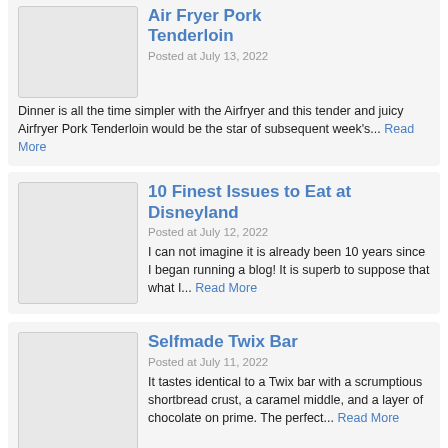Air Fryer Pork Tenderloin
Posted at July 13, 2022
Dinner is all the time simpler with the Airfryer and this tender and juicy Airfryer Pork Tenderloin would be the star of subsequent week's... Read More
10 Finest Issues to Eat at Disneyland
Posted at July 12, 2022
I can not imagine it is already been 10 years since I began running a blog! It is superb to suppose that what I... Read More
Selfmade Twix Bar
Posted at July 11, 2022
It tastes identical to a Twix bar with a scrumptious shortbread crust, a caramel middle, and a layer of chocolate on prime. The perfect... Read More